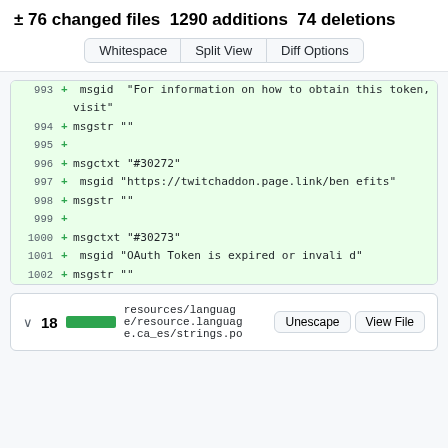± 76 changed files 1290 additions 74 deletions
[Figure (screenshot): Whitespace, Split View, Diff Options buttons]
993 + msgid "For information on how to obtain this token, visit"
994 + msgstr ""
995 +
996 + msgctxt "#30272"
997 + msgid "https://twitchaddon.page.link/benefits"
998 + msgstr ""
999 +
1000 + msgctxt "#30273"
1001 + msgid "OAuth Token is expired or invalid"
1002 + msgstr ""
resources/language/e/resource.language.ca_es/strings.po  ∨ 18  Unescape  View File